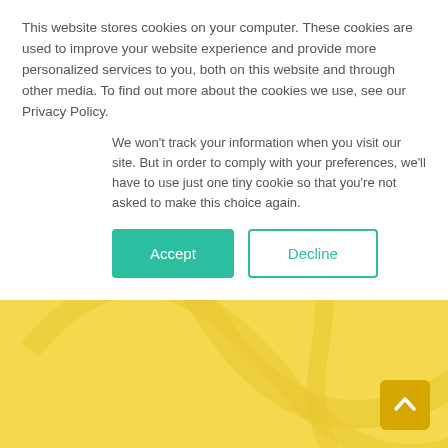This website stores cookies on your computer. These cookies are used to improve your website experience and provide more personalized services to you, both on this website and through other media. To find out more about the cookies we use, see our Privacy Policy.
We won't track your information when you visit our site. But in order to comply with your preferences, we'll have to use just one tiny cookie so that you're not asked to make this choice again.
Accept | Decline
Technology
To deliver innovation
TZNet > Technology